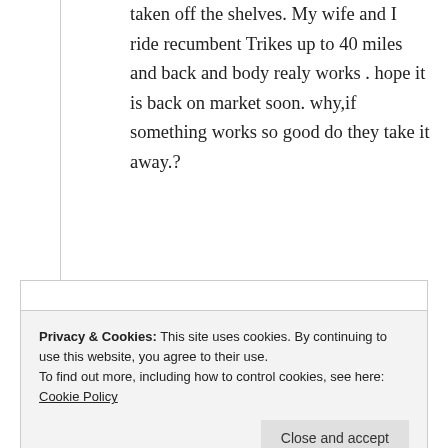taken off the shelves. My wife and I ride recumbent Trikes up to 40 miles and back and body realy works . hope it is back on market soon. why,if something works so good do they take it away.?
Like
Reply
Privacy & Cookies: This site uses cookies. By continuing to use this website, you agree to their use.
To find out more, including how to control cookies, see here: Cookie Policy
Close and accept
else works, when can we get it back in stores??